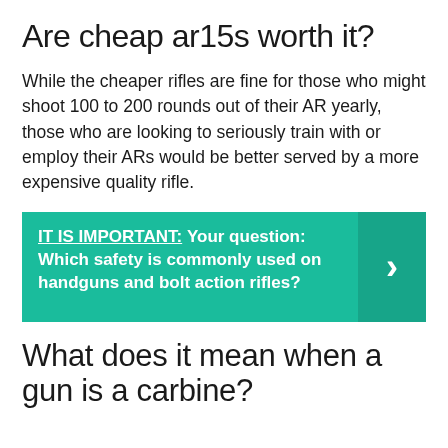Are cheap ar15s worth it?
While the cheaper rifles are fine for those who might shoot 100 to 200 rounds out of their AR yearly, those who are looking to seriously train with or employ their ARs would be better served by a more expensive quality rifle.
[Figure (infographic): Teal callout box with bold white text reading 'IT IS IMPORTANT: Your question: Which safety is commonly used on handguns and bolt action rifles?' and a darker teal right-arrow chevron on the right side.]
What does it mean when a gun is a carbine?